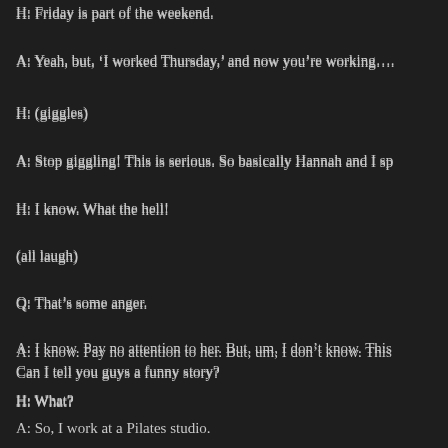H: Friday is part of the weekend.
A: Yeah, but, ‘I worked Thursday,’ and now you’re working….
H: (giggles)
A: Stop giggling! This is serious. So basically Hannah and I sp
H: I know. What the hell!
(all laugh)
Q: That’s some anger.
A: I know. Pay no attention to her. But, um, I don’t know. This Can I tell you guys a funny story?
H: What?
A: So, I work at a Pilates studio.
H: She and her mom are gonna take mother-daughter classes.